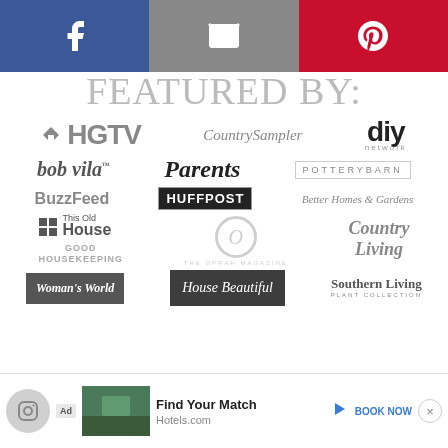[Figure (infographic): Social sharing bar with Facebook (blue), email (gray), and Pinterest (red) buttons]
FEATURED BY:
[Figure (infographic): Grid of media brand logos: HGTV, CountrySampler, DIY Network, bob vila, Parents, Pottery Barn, BuzzFeed, HUFFPOST, Better Homes & Gardens, This Old House, The Oprah Magazine, Country Living, Good Housekeeping, Woman's World, House Beautiful, Southern Living Plant Collection]
[Figure (infographic): Advertisement bar: Hotels.com ad with 'Find Your Match' text and 'BOOK NOW' CTA]